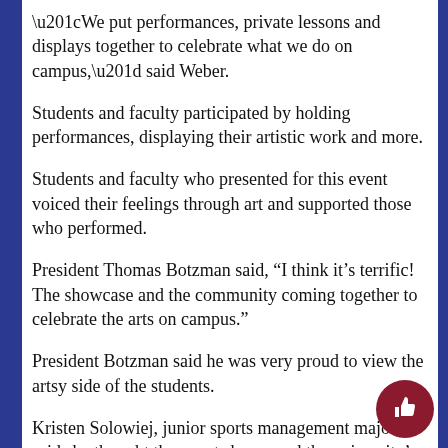“We put performances, private lessons and displays together to celebrate what we do on campus,” said Weber.
Students and faculty participated by holding performances, displaying their artistic work and more.
Students and faculty who presented for this event voiced their feelings through art and supported those who performed.
President Thomas Botzman said, “I think it’s terrific! The showcase and the community coming together to celebrate the arts on campus.”
President Botzman said he was very proud to view the artsy side of the students.
Kristen Solowiej, junior sports management major, said she thought the event showcased the university’s artistic talent well.